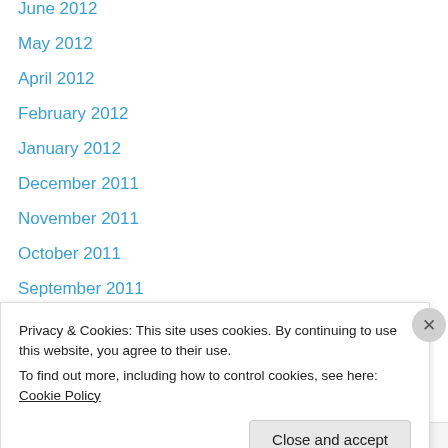June 2012
May 2012
April 2012
February 2012
January 2012
December 2011
November 2011
October 2011
September 2011
August 2011
Subscr…
Privacy & Cookies: This site uses cookies. By continuing to use this website, you agree to their use. To find out more, including how to control cookies, see here: Cookie Policy